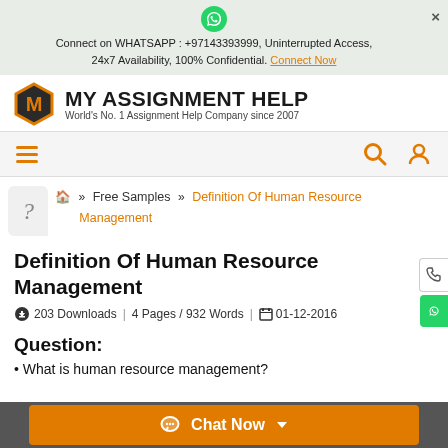Connect on WHATSAPP : +97143393999, Uninterrupted Access, 24x7 Availability, 100% Confidential. Connect Now
[Figure (logo): MY ASSIGNMENT HELP logo with orange hexagon M icon. World's No. 1 Assignment Help Company since 2007]
[Figure (infographic): Navigation bar with hamburger menu, search icon, and user icon]
Free Samples » Definition Of Human Resource Management
Definition Of Human Resource Management
203 Downloads | 4 Pages / 932 Words | 01-12-2016
Question:
What is human resource management?
Chat Now